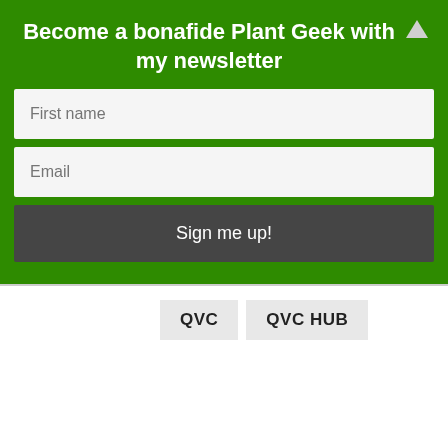Become a bonafide Plant Geek with my newsletter
[Figure (screenshot): Newsletter signup form with First name input, Email input, and Sign me up! button on green background]
QVC
QVC HUB
leave a reply
[Figure (screenshot): Comment text area with placeholder text: Enter your comment here...]